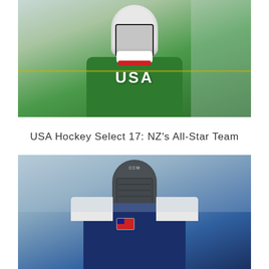[Figure (photo): Hockey player wearing a green USA jersey with white CCM helmet and cage face guard, standing on ice rink]
USA Hockey Select 17: NZ's All-Star Team
[Figure (photo): Hockey player wearing a navy/white USA jersey with black CCM helmet and cage face guard, standing on ice rink]